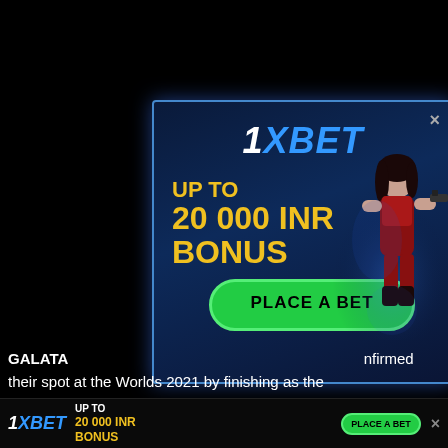[Figure (screenshot): 1XBET advertisement popup overlay on a dark background. Shows '1XBET' logo at top, 'UP TO 20 000 INR BONUS' text in yellow, a 'PLACE A BET' green button, and a female game character on the right side.]
GALATASARAY confirmed their spot at the Worlds 2021 by finishing as the champions of the Turkish Championship League (TCL) Summer 2021. Galatasaray Esports' roster for the play-ins
[Figure (screenshot): Bottom banner ad for 1XBET showing logo, 'UP TO 20 000 INR BONUS' text, 'PLACE A BET' button, small character image, and close X.]